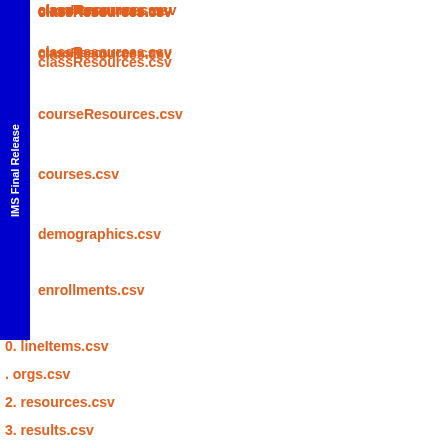IMS Final Release
classResources.csv
courseResources.csv
courses.csv
demographics.csv
enrollments.csv
0. lineItems.csv
. orgs.csv
2. resources.csv
3. results.csv
3.14. users.csv
Appendix A - File Dependencies Matrix
About This Document
List of Contributors